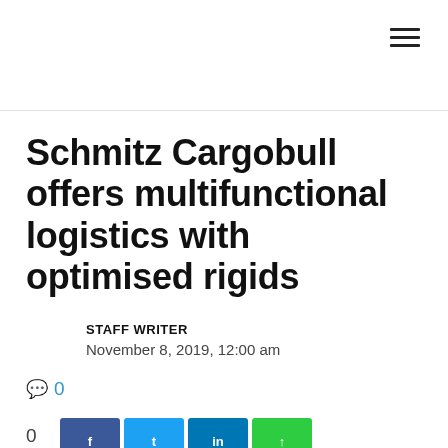Schmitz Cargobull offers multifunctional logistics with optimised rigids
STAFF WRITER
November 8, 2019, 12:00 am
0
0